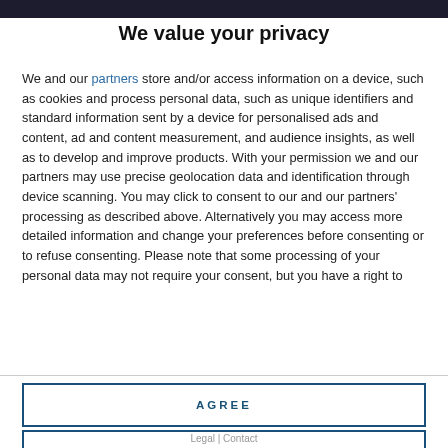We value your privacy
We and our partners store and/or access information on a device, such as cookies and process personal data, such as unique identifiers and standard information sent by a device for personalised ads and content, ad and content measurement, and audience insights, as well as to develop and improve products. With your permission we and our partners may use precise geolocation data and identification through device scanning. You may click to consent to our and our partners' processing as described above. Alternatively you may access more detailed information and change your preferences before consenting or to refuse consenting. Please note that some processing of your personal data may not require your consent, but you have a right to
AGREE
MORE OPTIONS
Legal | Contact